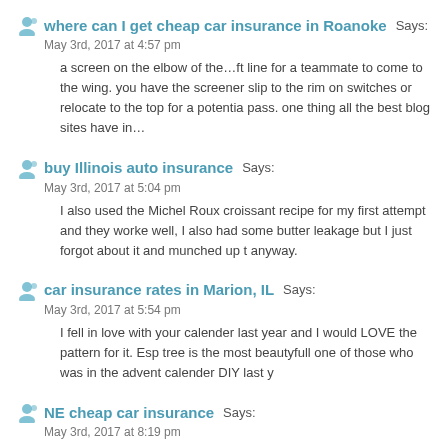where can I get cheap car insurance in Roanoke Says:
May 3rd, 2017 at 4:57 pm
a screen on the elbow of the…ft line for a teammate to come to the wing. you have the screener slip to the rim on switches or relocate to the top for a potential pass. one thing all the best blog sites have in…
buy Illinois auto insurance Says:
May 3rd, 2017 at 5:04 pm
I also used the Michel Roux croissant recipe for my first attempt and they worked well, I also had some butter leakage but I just forgot about it and munched up t anyway.
car insurance rates in Marion, IL Says:
May 3rd, 2017 at 5:54 pm
I fell in love with your calender last year and I would LOVE the pattern for it. Esp tree is the most beautyfull one of those who was in the advent calender DIY last y
NE cheap car insurance Says:
May 3rd, 2017 at 8:19 pm
Phenomenal breakdown of the topic, you should write for me too!